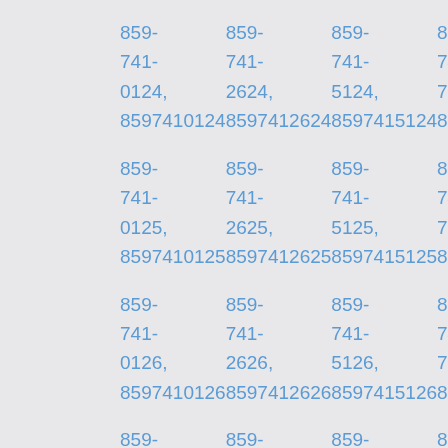859-741-0124, 8597410124
859-741-2624, 8597412624
859-741-5124, 8597415124
859-741-7624, 8597417624
859-741-0125, 8597410125
859-741-2625, 8597412625
859-741-5125, 8597415125
859-741-7625, 8597417625
859-741-0126, 8597410126
859-741-2626, 8597412626
859-741-5126, 8597415126
859-741-7626, 8597417626
859-741-0127,
859-741-2627,
859-741-5127,
859-741-7627,